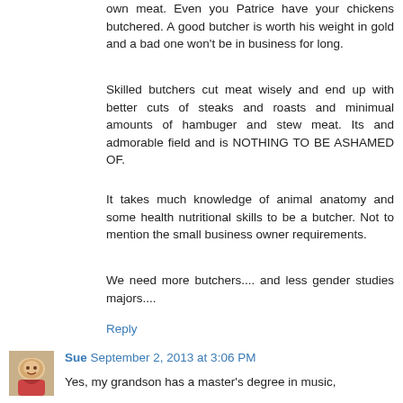own meat. Even you Patrice have your chickens butchered. A good butcher is worth his weight in gold and a bad one won't be in business for long.
Skilled butchers cut meat wisely and end up with better cuts of steaks and roasts and minimual amounts of hambuger and stew meat. Its and admorable field and is NOTHING TO BE ASHAMED OF.
It takes much knowledge of animal anatomy and some health nutritional skills to be a butcher. Not to mention the small business owner requirements.
We need more butchers.... and less gender studies majors....
Reply
Sue September 2, 2013 at 3:06 PM
Yes, my grandson has a master's degree in music,